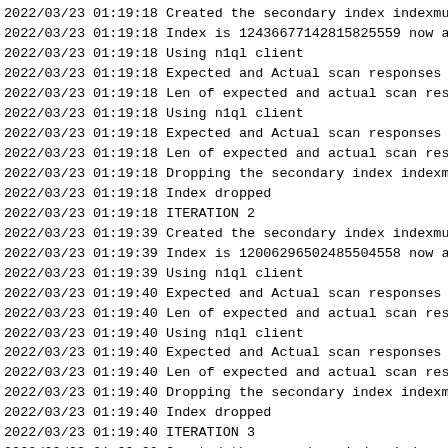2022/03/23 01:19:18 Created the secondary index indexmut_
2022/03/23 01:19:18 Index is 12436677142815825559 now act
2022/03/23 01:19:18 Using n1ql client
2022/03/23 01:19:18 Expected and Actual scan responses ar
2022/03/23 01:19:18 Len of expected and actual scan resu
2022/03/23 01:19:18 Using n1ql client
2022/03/23 01:19:18 Expected and Actual scan responses ar
2022/03/23 01:19:18 Len of expected and actual scan resu
2022/03/23 01:19:18 Dropping the secondary index indexmu
2022/03/23 01:19:18 Index dropped
2022/03/23 01:19:18 ITERATION 2
2022/03/23 01:19:39 Created the secondary index indexmut_
2022/03/23 01:19:39 Index is 12006296502485504558 now act
2022/03/23 01:19:39 Using n1ql client
2022/03/23 01:19:40 Expected and Actual scan responses ar
2022/03/23 01:19:40 Len of expected and actual scan resu
2022/03/23 01:19:40 Using n1ql client
2022/03/23 01:19:40 Expected and Actual scan responses ar
2022/03/23 01:19:40 Len of expected and actual scan resu
2022/03/23 01:19:40 Dropping the secondary index indexmu
2022/03/23 01:19:40 Index dropped
2022/03/23 01:19:40 ITERATION 3
2022/03/23 01:20:02 Created the secondary index indexmut_
2022/03/23 01:20:02 Index is 208448194235884832 now acti
2022/03/23 01:20:02 Using n1ql client
2022/03/23 01:20:03 Expected and Actual scan responses ar
2022/03/23 01:20:03 Len of expected and actual scan resu
2022/03/23 01:20:03 Using n1ql client
2022/03/23 01:20:04 Expected and Actual scan responses ar
2022/03/23 01:20:04 Len of expected and actual scan resu
2022/03/23 01:20:04 Dropping the secondary index indexmu